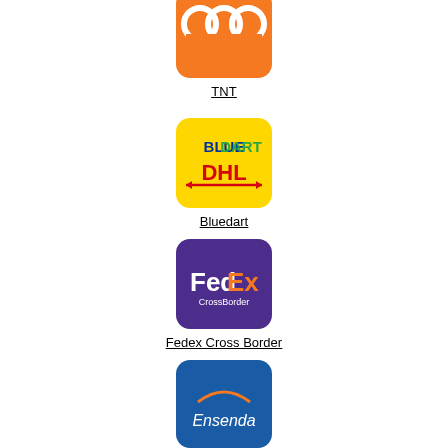[Figure (logo): TNT orange logo with white rings/circles on orange rounded square background]
TNT
[Figure (logo): Blue Dart DHL logo on yellow rounded square background with BLUE DART text in blue/green and DHL in red]
Bluedart
[Figure (logo): FedEx CrossBorder logo on purple rounded square background]
Fedex Cross Border
[Figure (logo): Ensenda logo on blue rounded square background with white italic text and orange arc above]